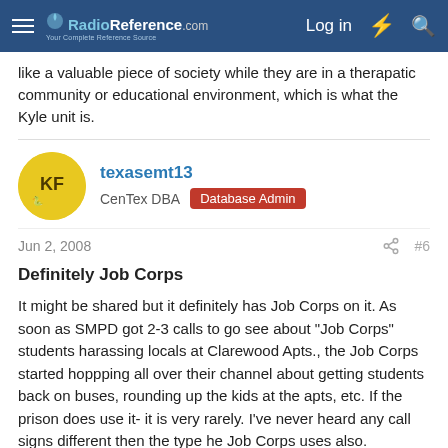RadioReference.com | Log in
like a valuable piece of society while they are in a therapatic community or educational environment, which is what the Kyle unit is.
texasemt13
CenTex DBA  Database Admin
Jun 2, 2008  #6
Definitely Job Corps
It might be shared but it definitely has Job Corps on it. As soon as SMPD got 2-3 calls to go see about "Job Corps" students harassing locals at Clarewood Apts., the Job Corps started hoppping all over their channel about getting students back on buses, rounding up the kids at the apts, etc. If the prison does use it- it is very rarely. I've never heard any call signs different then the type he Job Corps uses also.